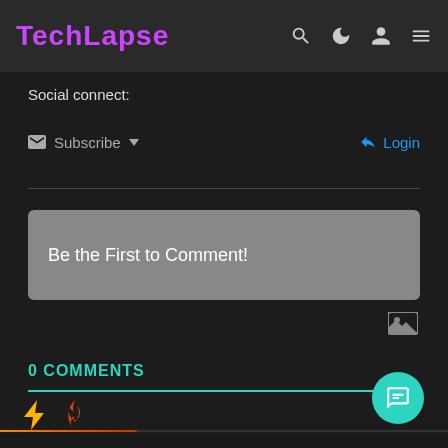TechLapse
Social connect:
Subscribe
Login
Be the First to Comment!
0 COMMENTS
[Figure (screenshot): Sort icons row with lightning bolt (yellow) and fire (orange) icons]